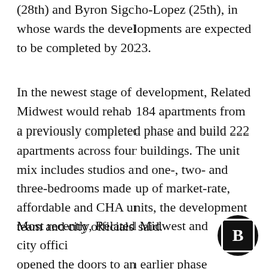(28th) and Byron Sigcho-Lopez (25th), in whose wards the developments are expected to be completed by 2023.
In the newest stage of development, Related Midwest would rehab 184 apartments from a previously completed phase and build 222 apartments across four buildings. The unit mix includes studios and one-, two- and three-bedrooms made up of market-rate, affordable and CHA units, the development team and city officials said.
Most recently, Related Midwest and city officials opened the doors to an earlier phase of the project that brought mixed-income apartments